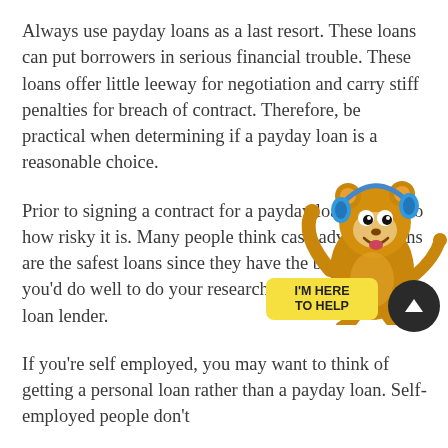Always use payday loans as a last resort. These loans can put borrowers in serious financial trouble. These loans offer little leeway for negotiation and carry stiff penalties for breach of contract. Therefore, be practical when determining if a payday loan is a reasonable choice.
Prior to signing a contract for a payday loan, look into how risky it is. Many people think cash advance loans are the safest loans since they have the best terms, so you'd do well to do your research to find a reliable loan lender.
[Figure (illustration): Cartoon mascot (brown bear/beaver wearing blue headphones) with a yellow speech bubble saying 'I'M HERE TO HELP' and a dark circular scroll-to-top button with an upward chevron arrow.]
If you're self employed, you may want to think of getting a personal loan rather than a payday loan. Self-employed people don't